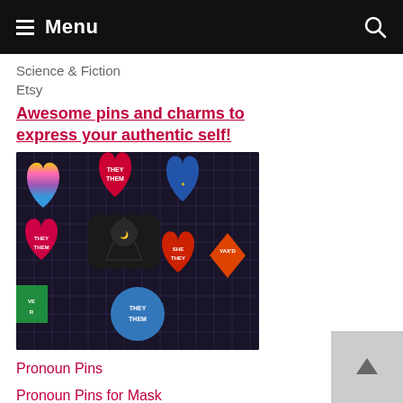Menu
Science & Fiction
Etsy
Awesome pins and charms to express your authentic self!
[Figure (photo): Collection of colorful pronoun pins on a dark grid background, including heart-shaped and round pins with text like THEY/THEM, SHE/THEY, and VAX'D]
Pronoun Pins
Pronoun Pins for Mask
Magnetic Pronoun Pins
He/Him, She/Her, They Them Pronoun Pins